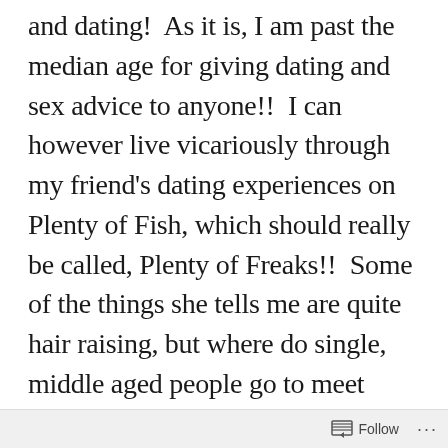and dating!  As it is, I am past the median age for giving dating and sex advice to anyone!!  I can however live vicariously through my friend's dating experiences on Plenty of Fish, which should really be called, Plenty of Freaks!!  Some of the things she tells me are quite hair raising, but where do single, middle aged people go to meet other people looking for more of a
Follow ···